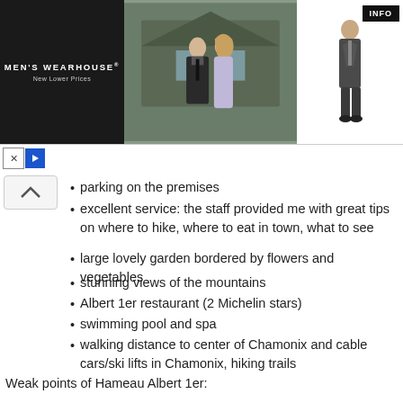[Figure (photo): Men's Wearhouse advertisement banner showing a couple in formal wear and a man in a suit, with INFO button]
parking on the premises
excellent service: the staff provided me with great tips on where to hike, where to eat in town, what to see
large lovely garden bordered by flowers and vegetables
stunning views of the mountains
Albert 1er restaurant (2 Michelin stars)
swimming pool and spa
walking distance to center of Chamonix and cable cars/ski lifts in Chamonix, hiking trails
Weak points of Hameau Albert 1er:
my room could have had more storage space for clothes, shoes, and other articles
I would come back to Hameau Albert 1er if I am ever in